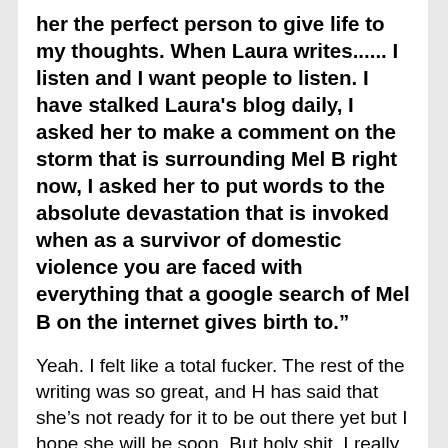her the perfect person to give life to my thoughts. When Laura writes...... I listen and I want people to listen. I have stalked Laura's blog daily, I asked her to make a comment on the storm that is surrounding Mel B right now, I asked her to put words to the absolute devastation that is invoked when as a survivor of domestic violence you are faced with everything that a google search of Mel B on the internet gives birth to."
Yeah. I felt like a total fucker. The rest of the writing was so great, and H has said that she's not ready for it to be out there yet but I hope she will be soon. But holy shit, I really, really felt that I'd let H down. I'm very aware of not making this about me as it truly isn't; ultimately though, I'd been asked for help and not responded. Which is shitty. It was still another month before I could put any of this into words though, despite starting this draft immediately. I didn't want to write just because I